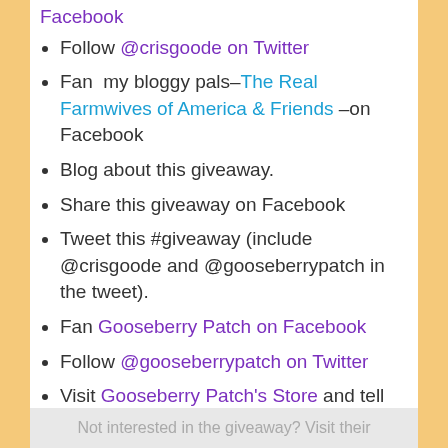Facebook
Follow @crisgoode on Twitter
Fan  my bloggy pals–The Real Farmwives of America & Friends –on Facebook
Blog about this giveaway.
Share this giveaway on Facebook
Tweet this #giveaway (include @crisgoode and @gooseberrypatch in the tweet).
Fan Gooseberry Patch on Facebook
Follow @gooseberrypatch on Twitter
Visit Gooseberry Patch's Store and tell me which cookbook you'd love to have.
Not interested in the giveaway? Visit their